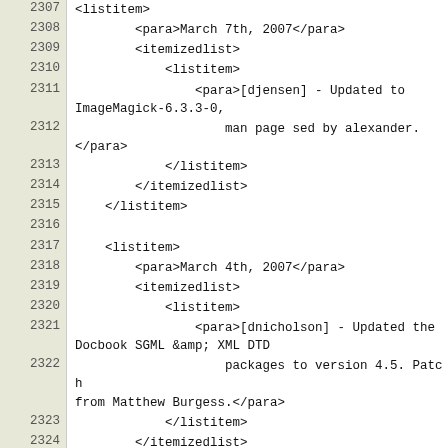| line | code |
| --- | --- |
| 2307 | <listitem> |
| 2308 |         <para>March 7th, 2007</para> |
| 2309 |         <itemizedlist> |
| 2310 |             <listitem> |
| 2311 |                 <para>[djensen] - Updated to ImageMagick-6.3.3-0, |
| 2312 |                     man page sed by alexander.
</para> |
| 2313 |             </listitem> |
| 2314 |         </itemizedlist> |
| 2315 |     </listitem> |
| 2316 |  |
| 2317 |     <listitem> |
| 2318 |         <para>March 4th, 2007</para> |
| 2319 |         <itemizedlist> |
| 2320 |             <listitem> |
| 2321 |                 <para>[dnicholson] - Updated the Docbook SGML &amp; XML DTD |
| 2322 |                     packages to version 4.5. Patch from Matthew Burgess.</para> |
| 2323 |             </listitem> |
| 2324 |         </itemizedlist> |
| 2325 |     </listitem> |
| 2326 |  |